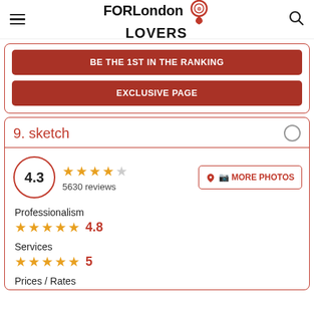FORLondon LOVERS
BE THE 1ST IN THE RANKING
EXCLUSIVE PAGE
9. sketch
4.3 — 5630 reviews
MORE PHOTOS
Professionalism 4.8
Services 5
Prices / Rates